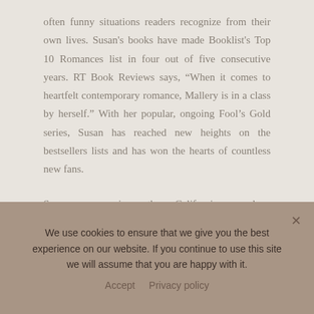often funny situations readers recognize from their own lives. Susan's books have made Booklist's Top 10 Romances list in four out of five consecutive years. RT Book Reviews says, “When it comes to heartfelt contemporary romance, Mallery is in a class by herself.” With her popular, ongoing Fool’s Gold series, Susan has reached new heights on the bestsellers lists and has won the hearts of countless new fans.
Susan grew up in southern California, moved so many times that her friends stopped writing her address in pen, and now has settled in Seattle with her husband
We use cookies to ensure that we give you the best experience on our website. If you continue to use this site we will assume that you are happy with it.
Accept   Privacy policy